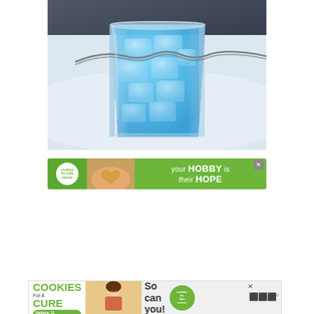[Figure (photo): A glass filled with bright blue iced drink/beverage with ice cubes, with a twisted metallic wire or straw across the top, set on a white surface with a grey/dark background. Close-up food/drink photography.]
[Figure (photo): Green banner advertisement for 'Cookies for Kids Cancer' charity showing a person holding a heart-shaped cookie, with text 'your HOBBY is their HOPE' in white on green background.]
[Figure (photo): Bottom banner advertisement for 'Cookies for Kids Cancer' showing a smiling girl, with text 'I Bake COOKIES For A CURE - Haldora, 11 Cancer Survivor - So can you!' with green cookies logo and Meredith logo.]